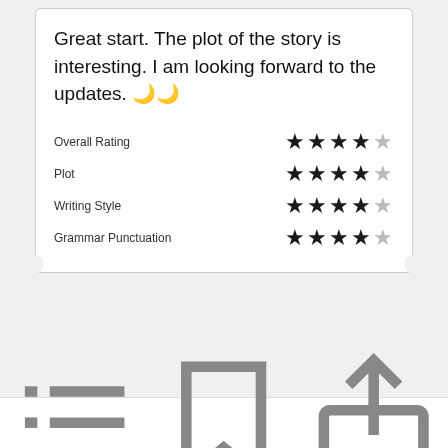Great start. The plot of the story is interesting. I am looking forward to the updates. 🌙🌙
| Category | Rating |
| --- | --- |
| Overall Rating | 4/5 stars |
| Plot | 4/5 stars |
| Writing Style | 4/5 stars |
| Grammar Punctuation | 4/5 stars |
Open in app
[Figure (infographic): Bottom navigation bar with list/menu icon, bookmark icon, and share icon]